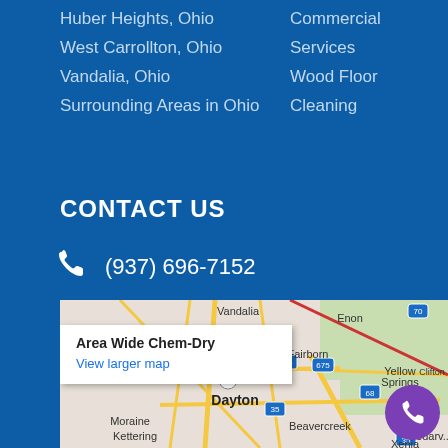Huber Heights, Ohio
West Carrollton, Ohio
Vandalia, Ohio
Surrounding Areas in Ohio
Commercial Services
Wood Floor Cleaning
CONTACT US
(937) 696-7152
[Figure (map): Google Map showing the Dayton, Ohio area including Vandalia, Fairborn, Trotwood, Moraine, Kettering, Beavercreek, Xenia, Enon, Yellow Springs, Clifton, Wilberforce. A popup shows 'Area Wide Chem-Dry' with 'View larger map' link.]